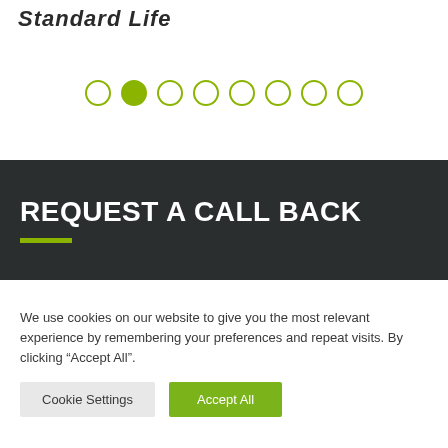Standard Life
[Figure (other): Pagination dots navigation: 8 circles in olive/yellow-green color, second dot filled (active), rest are outlines]
REQUEST A CALL BACK
We use cookies on our website to give you the most relevant experience by remembering your preferences and repeat visits. By clicking “Accept All”.
Cookie Settings | Accept All